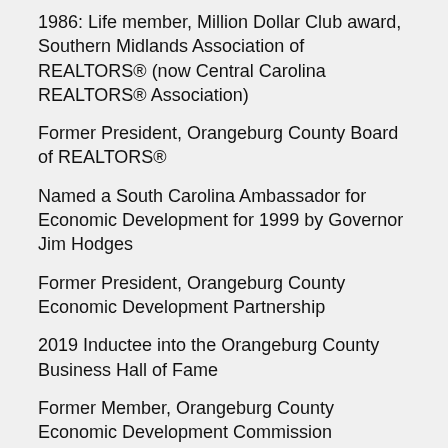1986: Life member, Million Dollar Club award, Southern Midlands Association of REALTORS® (now Central Carolina REALTORS® Association)
Former President, Orangeburg County Board of REALTORS®
Named a South Carolina Ambassador for Economic Development for 1999 by Governor Jim Hodges
Former President, Orangeburg County Economic Development Partnership
2019 Inductee into the Orangeburg County Business Hall of Fame
Former Member, Orangeburg County Economic Development Commission
Member of Orangeburg City Council, 1989 – 1995